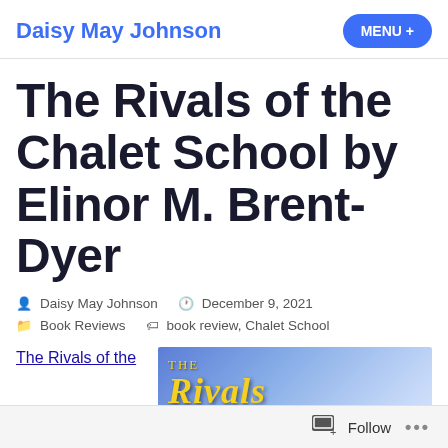Daisy May Johnson  MENU +
The Rivals of the Chalet School by Elinor M. Brent-Dyer
Daisy May Johnson  December 9, 2021  Book Reviews  book review, Chalet School
The Rivals of the
[Figure (photo): Book cover image showing 'THE RIVALS OF THE C...' text in yellow/gold lettering on a blue background]
Follow  ...